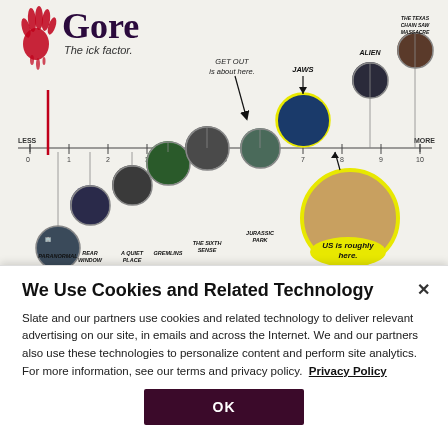[Figure (infographic): Gore scale infographic showing horror movies positioned on a spectrum from 'LESS' to 'MORE' (0-10). Movies shown: Paranormal Activity, Rear Window, A Quiet Place, Gremlins, The Sixth Sense, Get Out, Jurassic Park, Jaws, Alien, The Texas Chain Saw Massacre franchise. US is roughly at position 8, GET OUT is about at position 5. Red bloody handprint logo next to 'Gore - The ick factor.' title.]
We Use Cookies and Related Technology
Slate and our partners use cookies and related technology to deliver relevant advertising on our site, in emails and across the Internet. We and our partners also use these technologies to personalize content and perform site analytics. For more information, see our terms and privacy policy.  Privacy Policy